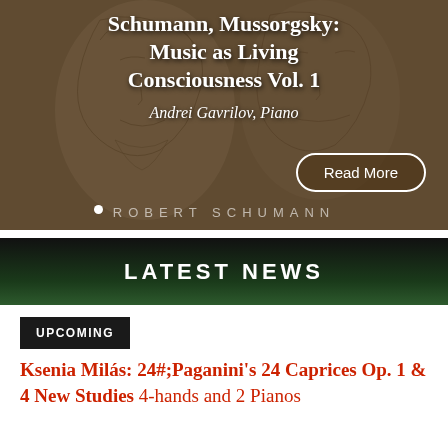[Figure (illustration): Hero banner with pencil sketch portraits of classical composers (Robert Schumann visible) on a warm brown/tan background, overlaid with album title text and a Read More button. 'ROBERT SCHUMANN' watermark text at bottom.]
Schumann, Mussorgsky: Music as Living Consciousness Vol. 1
Andrei Gavrilov, Piano
LATEST NEWS
UPCOMING
Ksenia Milas: 24#; Paganini's 24 Caprices Op. 1 & 4 New Studies 4-hands and 2 Pianos